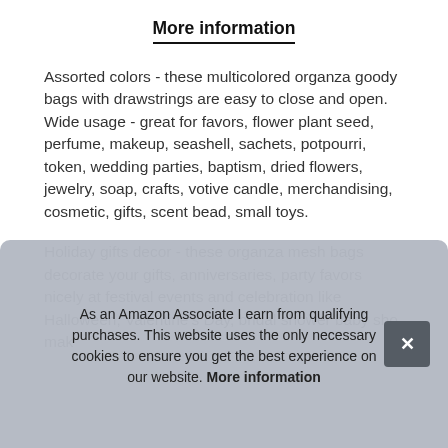More information
Assorted colors - these multicolored organza goody bags with drawstrings are easy to close and open. Wide usage - great for favors, flower plant seed, perfume, makeup, seashell, sachets, potpourri, token, wedding parties, baptism, dried flowers, jewelry, soap, crafts, votive candle, merchandising, cosmetic, gifts, scent bead, small toys.
Holiday gifts decor - these organza mesh bags decorate your gifts, anniversaries, party favors nicely at festival events and celebration like Halloween, Valentine's Day, bridal shower baby sho... mak...
As an Amazon Associate I earn from qualifying purchases. This website uses the only necessary cookies to ensure you get the best experience on our website. More information